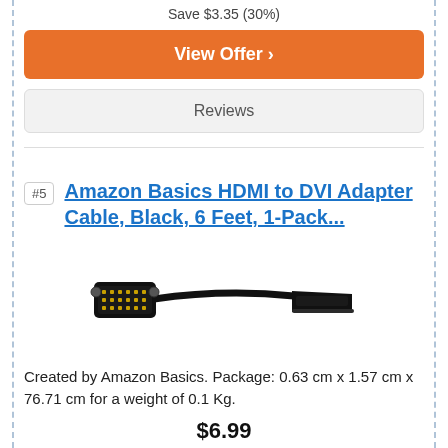Save $3.35 (30%)
View Offer ›
Reviews
#5  Amazon Basics HDMI to DVI Adapter Cable, Black, 6 Feet, 1-Pack...
[Figure (photo): Photo of Amazon Basics HDMI to DVI adapter cable, black, showing DVI connector on left and HDMI connector on right.]
Created by Amazon Basics. Package: 0.63 cm x 1.57 cm x 76.71 cm for a weight of 0.1 Kg.
$6.99